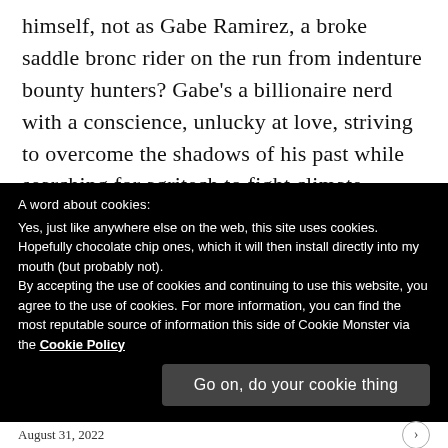himself, not as Gabe Ramirez, a broke saddle bronc rider on the run from indenture bounty hunters? Gabe's a billionaire nerd with a conscience, unlucky at love, striving to overcome the shadows of his past while searching for agritech to fight climate change. Ruby's a former rodeo queen, trying to get her degree in agricultural robotics, searching for agritech means to fight climate change, also unlucky at love
A word about cookies:
Yes, just like anywhere else on the web, this site uses cookies. Hopefully chocolate chip ones, which it will then install directly into my mouth (but probably not).
By accepting the use of cookies and continuing to use this website, you agree to the use of cookies. For more information, you can find the most reputable source of information this side of Cookie Monster via the Cookie Policy
Go on, do your cookie thing
August 31, 2022